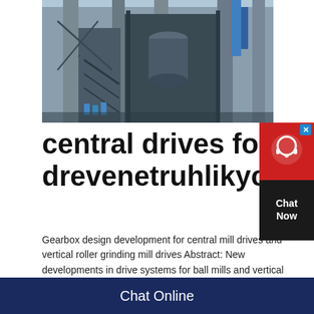[Figure (photo): Industrial cement plant or mill facility with large concrete columns, metal structures, stairs, and industrial equipment. Workers visible at the base in blue uniforms.]
central drives for ball mills drevenetruhlikycz
Gearbox design development for central mill drives and vertical roller grinding mill drives Abstract: New developments in drive systems for ball mills and vertical roller mills are contributing to the constant efforts to increase Cement Plant efficiency and to reduce operating costs and initial investmentscentral drive ball mill torque and
[Figure (other): Chat Now button widget with red top section showing headset icon, dark body with Chat Now text, and X close button]
Chat Online